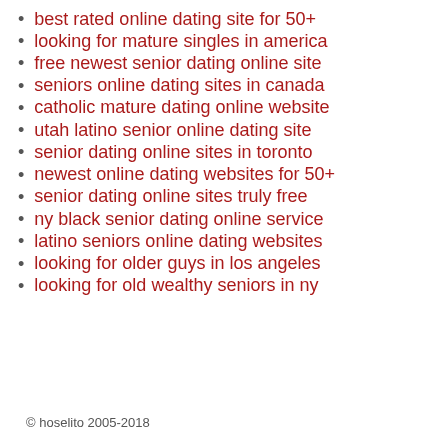best rated online dating site for 50+
looking for mature singles in america
free newest senior dating online site
seniors online dating sites in canada
catholic mature dating online website
utah latino senior online dating site
senior dating online sites in toronto
newest online dating websites for 50+
senior dating online sites truly free
ny black senior dating online service
latino seniors online dating websites
looking for older guys in los angeles
looking for old wealthy seniors in ny
© hoselito 2005-2018